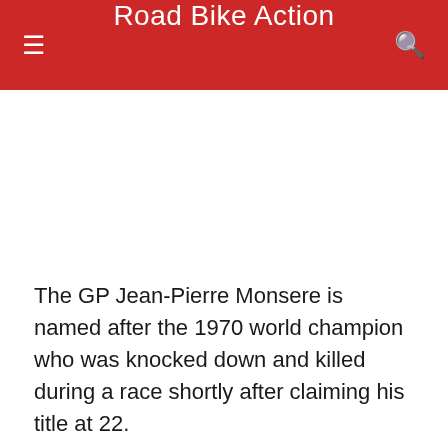Road Bike Action
The GP Jean-Pierre Monsere is named after the 1970 world champion who was knocked down and killed during a race shortly after claiming his title at 22.